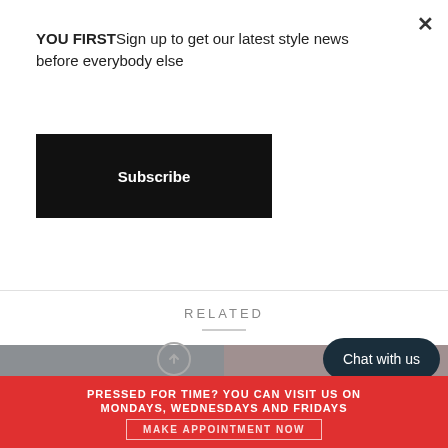YOU FIRSTSign up to get our latest style news before everybody else
Subscribe
RELATED
[Figure (photo): Woman smiling in yellow floral short-sleeve top against gray background]
[Figure (photo): Woman smiling balancing a mug on her head, wearing teal floral shirt, against taupe background]
Chat with us
PRESSED FOR TIME? YOU CAN VISIT US ON MONDAYS, WEDNESDAYS AND FRIDAYS
MAKE APPOINTMENT NOW